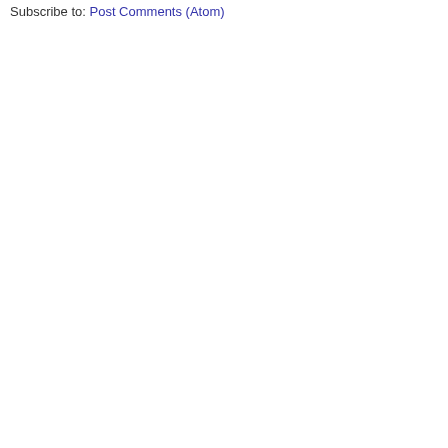Subscribe to: Post Comments (Atom)